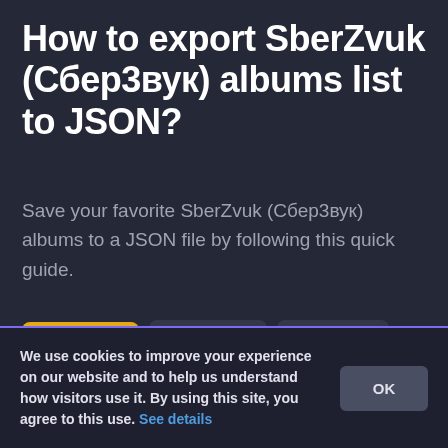How to export SberZvuk (Сбер3вук) albums list to JSON?
Save your favorite SberZvuk (Сбер3вук) albums to a JSON file by following this quick guide.
[Figure (screenshot): Navigation tabs showing: Premium (yellow button), Albums (with icon), Export (with icon)]
We use cookies to improve your experience on our website and to help us understand how visitors use it. By using this site, you agree to this use. See details
OK